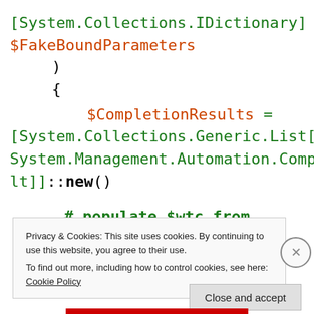[Figure (screenshot): Code snippet showing PowerShell code with [System.Collections.IDictionary] attribute, $FakeBoundParameters variable, closing parenthesis, opening brace, $CompletionResults assignment to [System.Collections.Generic.List[System.Management.Automation.CompletionResult]]::new(), and a comment '# populate $wtc from']
Privacy & Cookies: This site uses cookies. By continuing to use this website, you agree to their use.
To find out more, including how to control cookies, see here: Cookie Policy
Close and accept